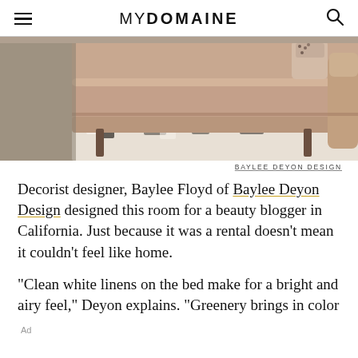MYDOMAINE
[Figure (photo): Close-up photograph of the lower portion of a dusty rose/blush velvet sofa with wooden legs, sitting on a patterned black and white rug]
BAYLEE DEYON DESIGN
Decorist designer, Baylee Floyd of Baylee Deyon Design designed this room for a beauty blogger in California. Just because it was a rental doesn't mean it couldn't feel like home.
"Clean white linens on the bed make for a bright and airy feel," Deyon explains. "Greenery brings in color